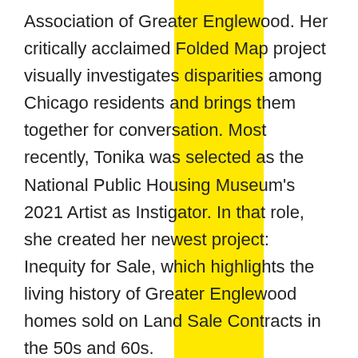Association of Greater Englewood. Her critically acclaimed Folded Map project visually investigates disparities among Chicago residents and brings them together for conversation. Most recently, Tonika was selected as the National Public Housing Museum's 2021 Artist as Instigator. In that role, she created her newest project: Inequity for Sale, which highlights the living history of Greater Englewood homes sold on Land Sale Contracts in the 50s and 60s.
Tiff Beatty is a cultural organizer, arts administrator, performance poet, and host. She is the current program director of arts, culture, and